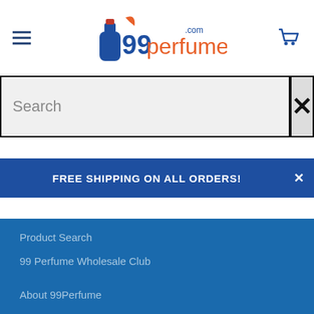[Figure (logo): 99perfume.com logo with blue perfume bottle and orange flame/leaf, text '99perfume' in blue and orange, '.com' superscript]
Search
×
FREE SHIPPING ON ALL ORDERS!
Product Search
99 Perfume Wholesale Club
About 99Perfume
Shipping & Returns
FAQ's
Contact Us